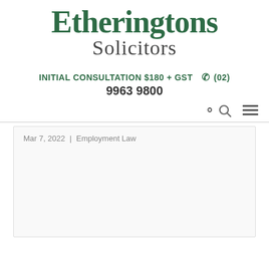[Figure (logo): Etheringtons Solicitors logo with green serif text for 'Etheringtons' and grey text for 'Solicitors']
INITIAL CONSULTATION $180 + GST  ☎ (02) 9963 9800
Mar 7, 2022 | Employment Law